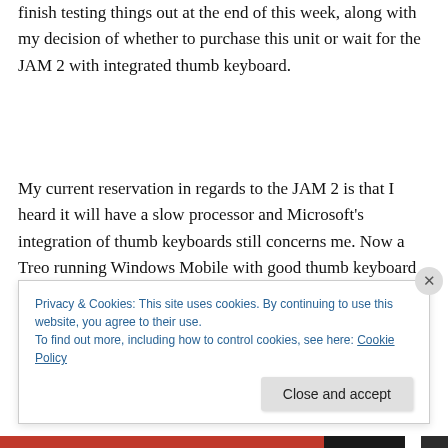finish testing things out at the end of this week, along with my decision of whether to purchase this unit or wait for the JAM 2 with integrated thumb keyboard.
My current reservation in regards to the JAM 2 is that I heard it will have a slow processor and Microsoft's integration of thumb keyboards still concerns me. Now a Treo running Windows Mobile with good thumb keyboard integration would be outstanding...
Privacy & Cookies: This site uses cookies. By continuing to use this website, you agree to their use.
To find out more, including how to control cookies, see here: Cookie Policy
Close and accept